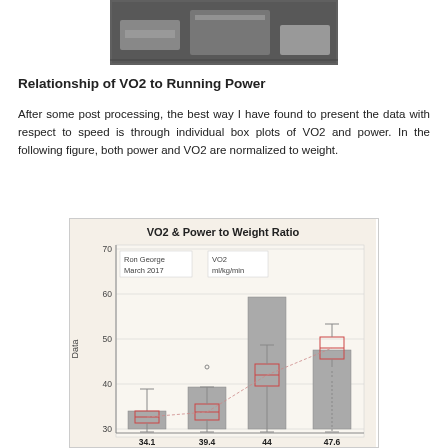[Figure (photo): Photograph of laboratory/testing equipment on a dark surface, partially visible at top of page]
Relationship of VO2 to Running Power
After some post processing, the best way I have found to present the data with respect to speed is through individual box plots of VO2 and power. In the following figure, both power and VO2 are normalized to weight.
[Figure (bar-chart): Box plot chart showing VO2 ml/kg/min vs Data with values 34.1, 39.4, 44, 47.6. Annotated Ron George, March 2017.]